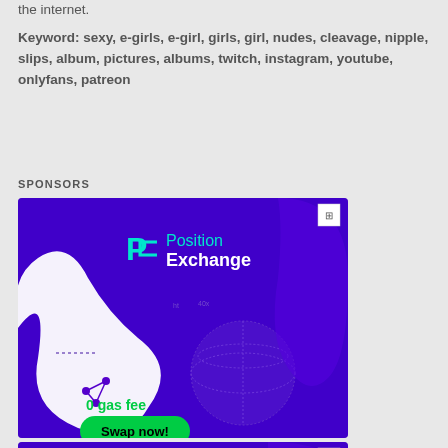the internet.
Keyword: sexy, e-girls, e-girl, girls, girl, nudes, cleavage, nipple, slips, album, pictures, albums, twitch, instagram, youtube, onlyfans, patreon
SPONSORS
[Figure (illustration): Advertisement banner for Position Exchange showing logo with text 'Position Exchange', '0 gas fee', and 'Swap now!' button on purple background with abstract white shape]
[Figure (illustration): Second advertisement banner for Position Exchange, partially visible at bottom, showing logo and 'Position' text on purple background]